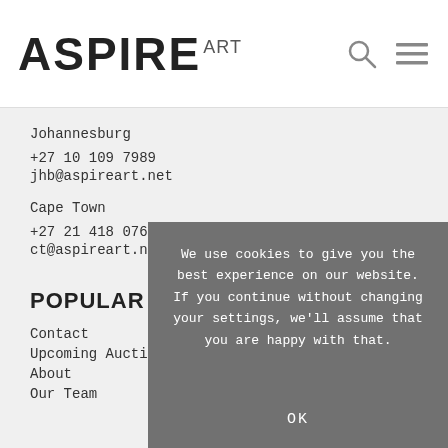ASPIRE ART
Johannesburg
+27 10 109 7989
jhb@aspireart.net
Cape Town
+27 21 418 0765
ct@aspireart.net
POPULAR PAGES
Contact
Upcoming Auctions
About
Our Team
We use cookies to give you the best experience on our website. If you continue without changing your settings, we'll assume that you are happy with that.
OK